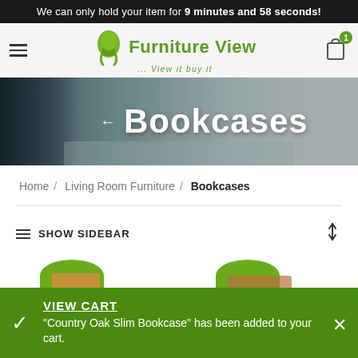We can only hold your item for 9 minutes and 58 seconds!
[Figure (logo): Furniture View logo with green chair icon and tagline '... View it buy it']
[Figure (photo): Hero banner showing a living room scene with lamp and sofa, overlaid with 'Bookcases' heading and back arrow]
Home / Living Room Furniture / Bookcases
SHOW SIDEBAR
[Figure (photo): Bottom strip showing partial product thumbnails with green rounded tops]
VIEW CART
"Country Oak Slim Bookcase" has been added to your cart.